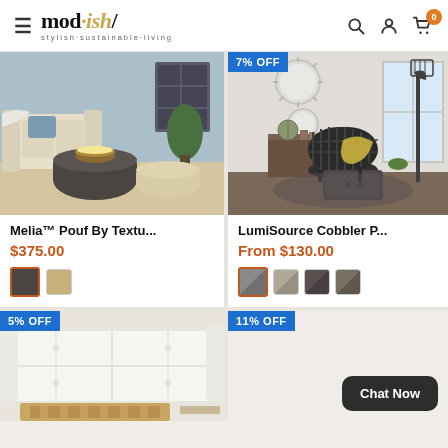mod·ish/ stylish·sustainable·living
[Figure (photo): Melia Pouf product photo – dark grey woven pouf with bowl on top, cream pouf and sofa in background, blue wall]
Melia™ Pouf By Textu...
$375.00
[Figure (photo): LumiSource Cobbler product photo – black wicker chair with yellow throw, floor lamp, decorative mirrors on grey wall]
7% OFF
LumiSource Cobbler P...
From $130.00
[Figure (photo): Partial product photo – white tufted sofa/couch bottom of page]
5% OFF
11% OFF
Chat Now